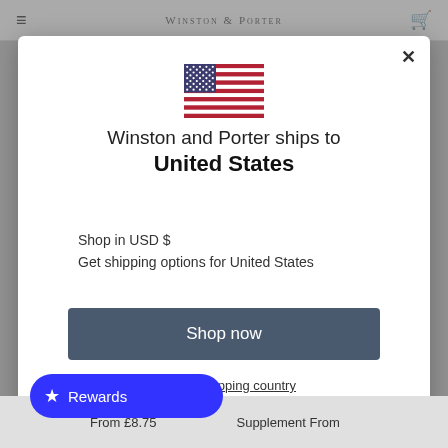Winston & Porter
[Figure (illustration): US flag emoji/icon]
Winston and Porter ships to United States
Shop in USD $
Get shipping options for United States
Shop now
Change shipping country
From £8.75
Supplement From
Rewards